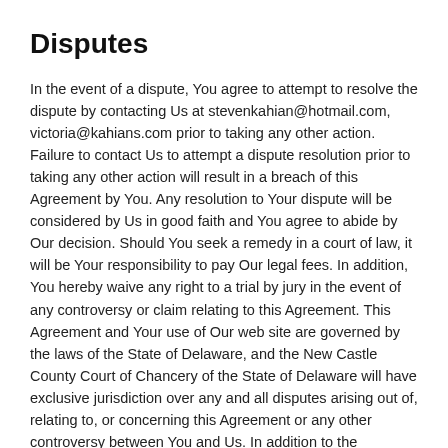Disputes
In the event of a dispute, You agree to attempt to resolve the dispute by contacting Us at stevenkahian@hotmail.com, victoria@kahians.com prior to taking any other action. Failure to contact Us to attempt a dispute resolution prior to taking any other action will result in a breach of this Agreement by You. Any resolution to Your dispute will be considered by Us in good faith and You agree to abide by Our decision. Should You seek a remedy in a court of law, it will be Your responsibility to pay Our legal fees. In addition, You hereby waive any right to a trial by jury in the event of any controversy or claim relating to this Agreement. This Agreement and Your use of Our web site are governed by the laws of the State of Delaware, and the New Castle County Court of Chancery of the State of Delaware will have exclusive jurisdiction over any and all disputes arising out of, relating to, or concerning this Agreement or any other controversy between You and Us. In addition to the foregoing, in the event of any breach or violation of this Agreement, We shall be entitled to enforce all of Our legal remedies for the breach or wrongful activity including, but not limited to, seeking actual damages, the maximum amount of statutory damages under applicable statutes and Acts, profits...